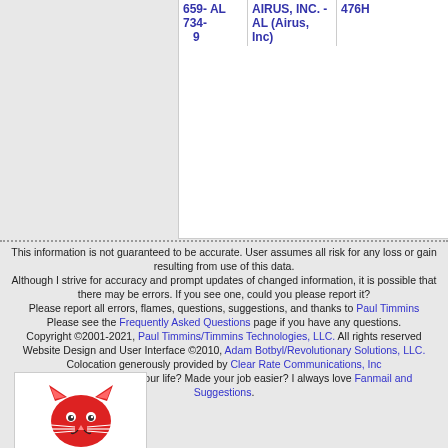| 659-734-9 | AL | AIRUS, INC. - AL (Airus, Inc) | 476H |
This information is not guaranteed to be accurate. User assumes all risk for any loss or gain resulting from use of this data.
Although I strive for accuracy and prompt updates of changed information, it is possible that there may be errors. If you see one, could you please report it?
Please report all errors, flames, questions, suggestions, and thanks to Paul Timmins
Please see the Frequently Asked Questions page if you have any questions.
Copyright ©2001-2021, Paul Timmins/Timmins Technologies, LLC. All rights reserved
Website Design and User Interface ©2010, Adam Botbyl/Revolutionary Solutions, LLC.
Colocation generously provided by Clear Rate Communications, Inc
Has this site changed your life? Made your job easier? I always love Fanmail and Suggestions.
[Figure (logo): Proud Member badge with red cat logo]